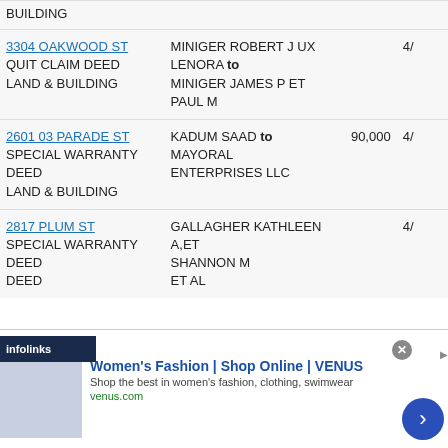| Address / Type | Parties | Price | Date |
| --- | --- | --- | --- |
| BUILDING |  |  |  |
| 3304 OAKWOOD ST
QUIT CLAIM DEED
LAND & BUILDING | MINIGER ROBERT J UX LENORA to MINIGER JAMES P ET PAUL M |  | 4/ |
| 2601 03 PARADE ST
SPECIAL WARRANTY DEED
LAND & BUILDING | KADUM SAAD to MAYORAL ENTERPRISES LLC | 90,000 | 4/ |
| 2817 PLUM ST
SPECIAL WARRANTY DEED | GALLAGHER KATHLEEN A,ET SHANNON M ET AL |  | 4/ |